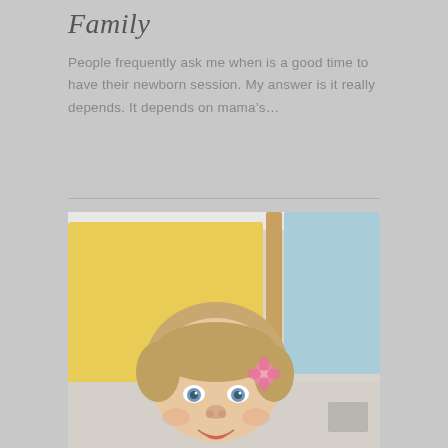Family
People frequently ask me when is a good time to have their newborn session. My answer is it really depends. It depends on mama’s…
[Figure (photo): A smiling baby/toddler girl with a pink flower in her hair, looking upward with blue eyes, photographed against a background with a yellow cushion and light blue panel]